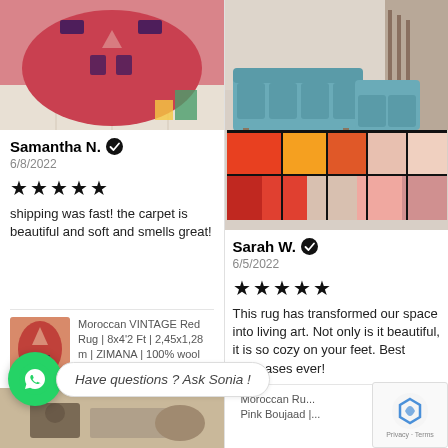[Figure (photo): Photo of a red Moroccan vintage rug on a tiled floor]
Samantha N. ✔
6/8/2022
★★★★★
shipping was fast! the carpet is beautiful and soft and smells great!
Moroccan VINTAGE Red Rug | 8x4'2 Ft | 2,45x1,28 m | ZIMANA | 100% wool handmade
[Figure (photo): Photo of a colorful Moroccan rug under a teal sectional sofa]
Sarah W. ✔
6/5/2022
★★★★★
This rug has transformed our space into living art. Not only is it beautiful, it is so cozy on your feet. Best purchases ever!
Moroccan Ru... Pink Boujaad |...
Have questions ? Ask Sonia !